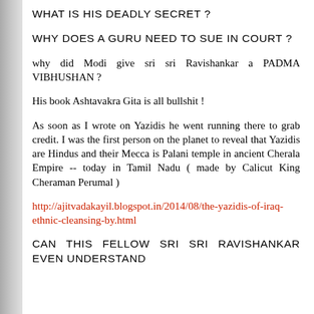WHAT IS HIS DEADLY SECRET ?
WHY DOES A GURU NEED TO SUE IN COURT ?
why did Modi give sri sri Ravishankar a PADMA VIBHUSHAN ?
His book Ashtavakra Gita is all bullshit !
As soon as I wrote on Yazidis he went running there to grab credit. I was the first person on the planet to reveal that Yazidis are Hindus and their Mecca is Palani temple in ancient Cherala Empire -- today in Tamil Nadu ( made by Calicut King Cheraman Perumal )
http://ajitvadakayil.blogspot.in/2014/08/the-yazidis-of-iraq-ethnic-cleansing-by.html
CAN THIS FELLOW SRI SRI RAVISHANKAR EVEN UNDERSTAND